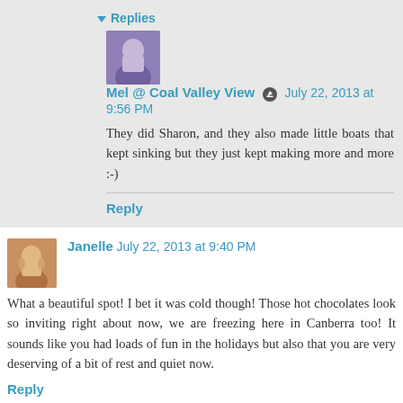▾ Replies
Mel @ Coal Valley View  July 22, 2013 at 9:56 PM
They did Sharon, and they also made little boats that kept sinking but they just kept making more and more :-)
Reply
Janelle  July 22, 2013 at 9:40 PM
What a beautiful spot! I bet it was cold though! Those hot chocolates look so inviting right about now, we are freezing here in Canberra too! It sounds like you had loads of fun in the holidays but also that you are very deserving of a bit of rest and quiet now.
Reply
▾ Replies